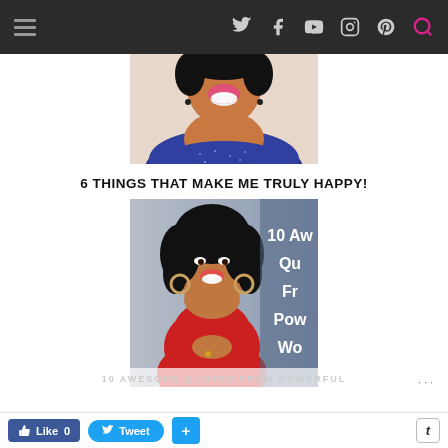Navigation bar with hamburger menu and social icons (Twitter, Facebook, YouTube, Instagram, Pinterest, Search)
[Figure (photo): Cropped photo of a smiling Black woman with pink lipstick wearing a blue sparkly off-shoulder dress, photo cut at chin level showing neck and shoulders]
6 THINGS THAT MAKE ME TRULY HAPPY!
[Figure (photo): Photo of Oprah Winfrey in a red dress, smiling with hands clasped, with overlaid white text partially visible reading '10 Aw... Qu... F... Pow... Wo...']
10 AWESOME QUOTES FROM POWERFUL
Like 0  Tweet  +  t